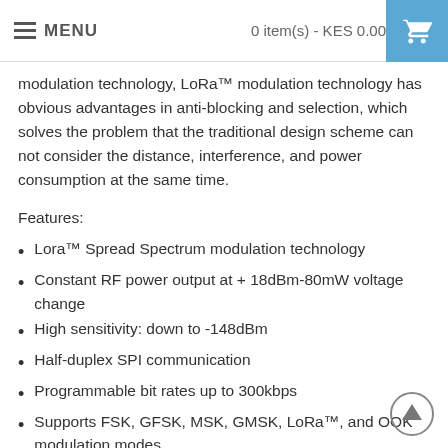MENU   0 item(s) - KES 0.00
modulation technology, LoRa™ modulation technology has obvious advantages in anti-blocking and selection, which solves the problem that the traditional design scheme can not consider the distance, interference, and power consumption at the same time.
Features:
Lora™ Spread Spectrum modulation technology
Constant RF power output at + 18dBm-80mW voltage change
High sensitivity: down to -148dBm
Half-duplex SPI communication
Programmable bit rates up to 300kbps
Supports FSK, GFSK, MSK, GMSK, LoRa™, and OOK modulation modes
127dB RSSI dynamic range
Automatic RF signal detection, CAD mode, and